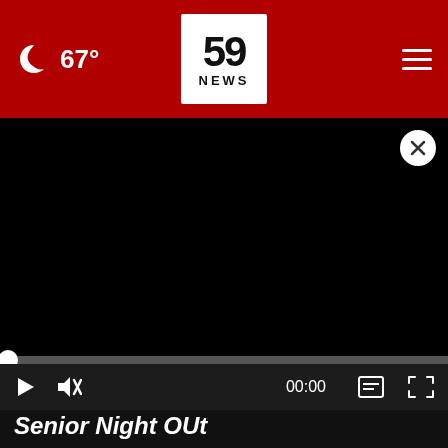67° | 59 NEWS
[Figure (screenshot): Black video player area, paused/blank video with close (X) button in top right]
[Figure (other): Video player controls: play button, mute button, timecode 00:00, captions button, fullscreen button]
Senior Night OUt
[Figure (screenshot): Thumbnail video preview with play button]
St. Albans Pitcher/Outfielder B...Williams...